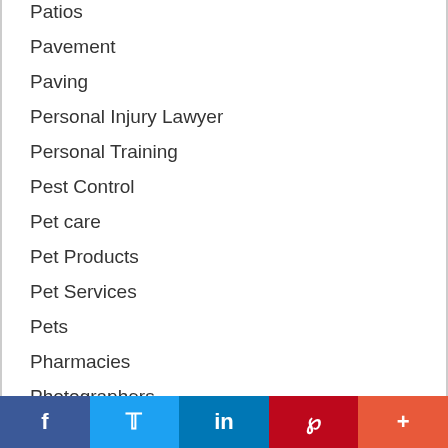Patios
Pavement
Paving
Personal Injury Lawyer
Personal Training
Pest Control
Pet care
Pet Products
Pet Services
Pets
Pharmacies
Photographers
Platform-as-a-Services
Plumbing
Facebook Twitter LinkedIn Pinterest More